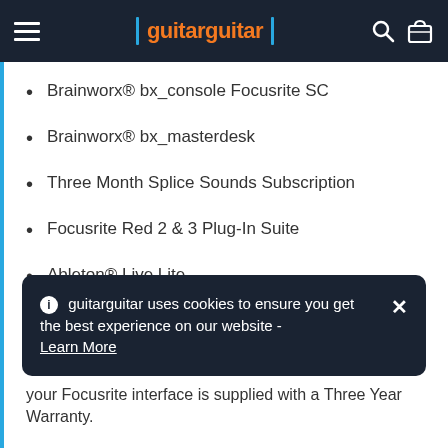guitarguitar
Brainworx® bx_console Focusrite SC
Brainworx® bx_masterdesk
Three Month Splice Sounds Subscription
Focusrite Red 2 & 3 Plug-In Suite
Ableton® Live Lite
Avid® Pro Tools® | First with Focusrite Creative Pack
guitarguitar uses cookies to ensure you get the best experience on our website - Learn More
your Focusrite interface is supplied with a Three Year Warranty.